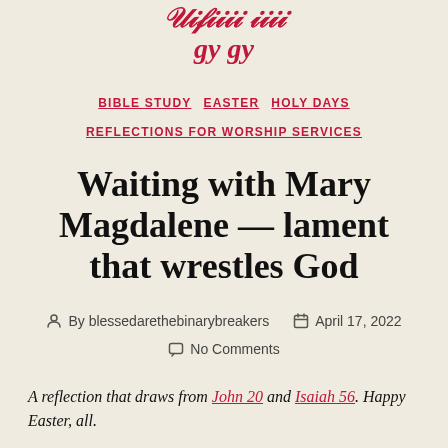[partial decorative/script text at top]
BIBLE STUDY  EASTER  HOLY DAYS  REFLECTIONS FOR WORSHIP SERVICES
Waiting with Mary Magdalene — lament that wrestles God
By blessedarethebinarybreakers   April 17, 2022   No Comments
A reflection that draws from John 20 and Isaiah 56. Happy Easter, all.